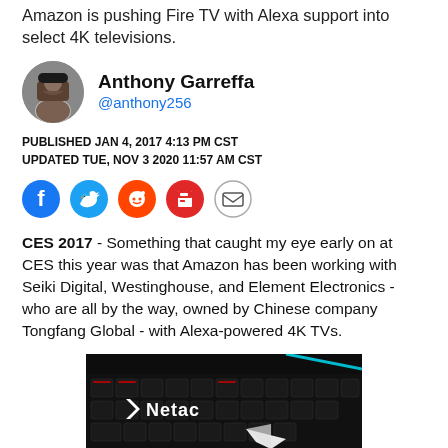Amazon is pushing Fire TV with Alexa support into select 4K televisions.
Anthony Garreffa
@anthony256
PUBLISHED JAN 4, 2017 4:13 PM CST
UPDATED TUE, NOV 3 2020 11:57 AM CST
[Figure (infographic): Social sharing icons: Facebook (blue), Twitter (blue), Reddit (orange), Flipboard (red), Email (outline)]
CES 2017 - Something that caught my eye early on at CES this year was that Amazon has been working with Seiki Digital, Westinghouse, and Element Electronics - who are all by the way, owned by Chinese company Tongfang Global - with Alexa-powered 4K TVs.
[Figure (photo): Dark keyboard with Netac logo branding visible, close-up product photo]